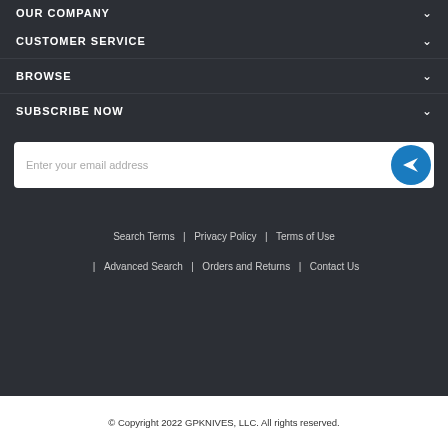OUR COMPANY
CUSTOMER SERVICE
BROWSE
SUBSCRIBE NOW
Enter your email address
Search Terms | Privacy Policy | Terms of Use | Advanced Search | Orders and Returns | Contact Us
© Copyright 2022 GPKNIVES, LLC. All rights reserved.